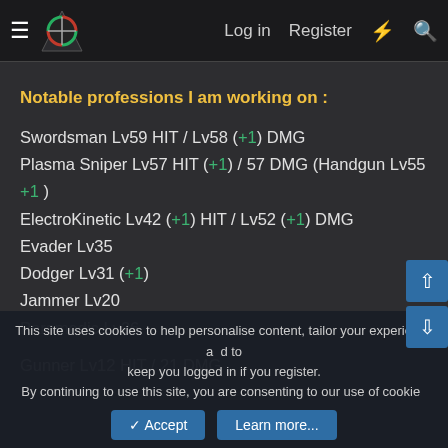Log in  Register
Notable professions I am working on :
Swordsman Lv59 HIT / Lv58 (+1) DMG
Plasma Sniper Lv57 HIT (+1) / 57 DMG (Handgun Lv55 +1 )
ElectroKinetic Lv42 (+1) HIT / Lv52 (+1) DMG
Evader Lv35
Dodger Lv31 (+1)
Jammer Lv20
Paramedic Lv26
Gunner Lv12 HIT / 21 DMG
This site uses cookies to help personalise content, tailor your experience and to keep you logged in if you register. By continuing to use this site, you are consenting to our use of cookies.